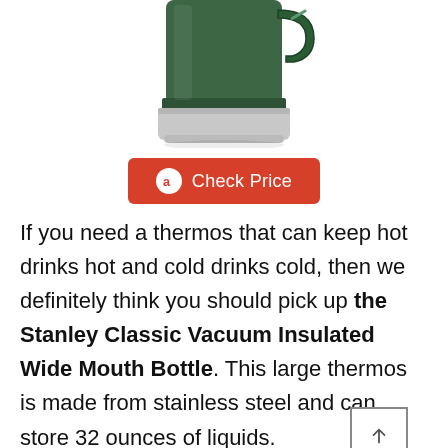[Figure (photo): Green Stanley Classic Vacuum Insulated Wide Mouth Bottle thermos, showing the bottom half of the bottle with stainless steel base, photographed on white background.]
Check Price
If you need a thermos that can keep hot drinks hot and cold drinks cold, then we definitely think you should pick up the Stanley Classic Vacuum Insulated Wide Mouth Bottle. This large thermos is made from stainless steel and can store 32 ounces of liquids.
It's also very durable and can withstand harsh